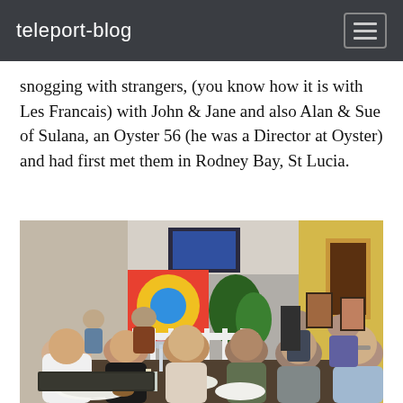teleport-blog
snogging with strangers, (you know how it is with Les Francais) with John & Jane and also Alan & Sue of Sulana, an Oyster 56 (he was a Director at Oyster) and had first met them in Rodney Bay, St Lucia.
[Figure (photo): Group of six adults seated around a restaurant table smiling and laughing, with food and drinks on the table. The restaurant has a colorful tropical ambiance with artwork on the walls and plants in the background.]